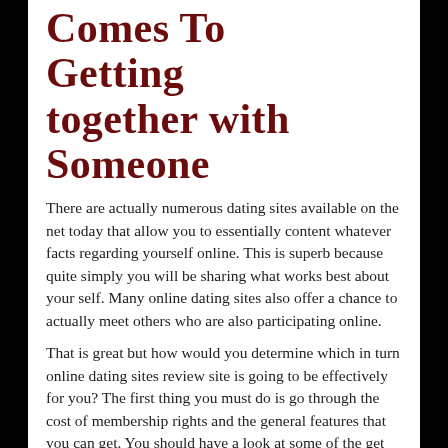Comes To Getting together with Someone
There are actually numerous dating sites available on the net today that allow you to essentially content whatever facts regarding yourself online. This is superb because quite simply you will be sharing what works best about your self. Many online dating sites also offer a chance to actually meet others who are also participating online.
That is great but how would you determine which in turn online dating sites review site is going to be effectively for you? The first thing you must do is go through the cost of membership rights and the general features that you can get. You should have a look at some of the get together apps that are available. The hookup apps give mobile software that will help you connect and interact with other persons